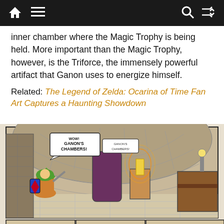Navigation bar with home, menu, search, and shuffle icons
inner chamber where the Magic Trophy is being held. More important than the Magic Trophy, however, is the Triforce, the immensely powerful artifact that Ganon uses to energize himself.
Related: The Legend of Zelda: Ocarina of Time Fan Art Captures a Haunting Showdown
[Figure (illustration): Comic book panel showing Link entering Ganon's Chambers, a domed stone room with a glowing trophy on a pedestal. Below are three comic strip panels showing the Magic Trophy and Triforce of Power, with dialogue.]